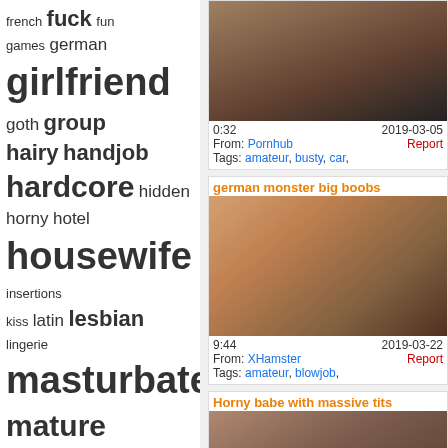french fuck fun games german girlfriend goth group hairy handjob hardcore hidden horny hotel housewife insertions kiss latin lesbian lingerie masturbate mature mom naked naughty neighbour nerd nipples old orgasm orgy outdoor pants pee pierced pornstar pregnant private public redhead ride roomate russian schoolgirl secretaries seduce shaved shemale shy skinny sleeping slut small solo spy squirt strip stupid
[Figure (photo): Video thumbnail - partial upper body]
0:32	2019-03-05
From: Pornhub	Report
Tags: amateur, busty, car,
german monster big boobs
[Figure (photo): Video thumbnail - close up]
9:44	2019-03-22
From: XHamster	Report
Tags: amateur, blowjob,
Horny babe with massive tits
[Figure (photo): Video thumbnail - woman in car]